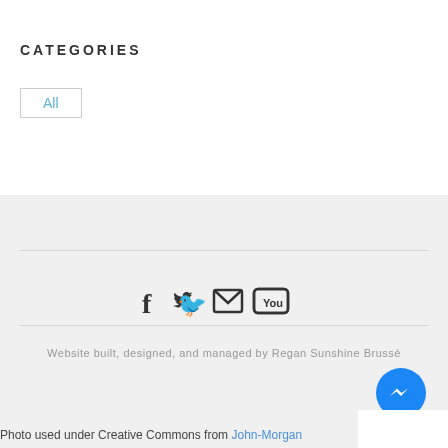CATEGORIES
All
[Figure (infographic): Social media icons: Facebook, Twitter, Email/Envelope, YouTube]
Website built, designed, and managed by Regan Sunshine Brussé
[Figure (infographic): Facebook Messenger chat button (blue circle with lightning bolt icon)]
Photo used under Creative Commons from John-Morgan